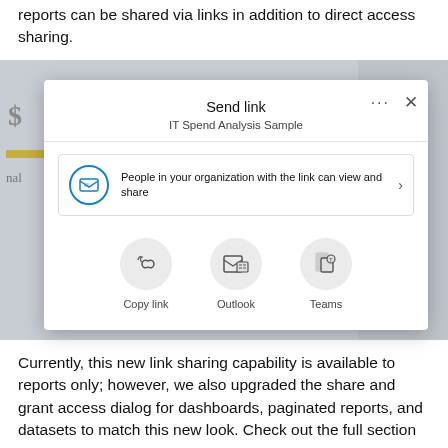reports can be shared via links in addition to direct access sharing.
[Figure (screenshot): Screenshot of the 'Send link' modal dialog in Power BI for 'IT Spend Analysis Sample'. The dialog shows a link-sharing option 'People in your organization with the link can view and share', with a chevron arrow. Below are three sharing options: Copy link, Outlook, and Teams, each shown as circular icon buttons. The modal has a three-dot menu and X close button in the upper right.]
Currently, this new link sharing capability is available to reports only; however, we also upgraded the share and grant access dialog for dashboards, paginated reports, and datasets to match this new look. Check out the full section to